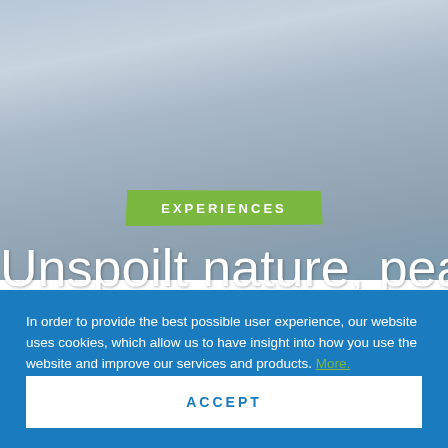[Figure (photo): Cloudy sky background image in muted blue-grey tones]
EXPERIENCES
Unspoilt nature, peace, and
In order to provide the best possible user experience, our website uses cookies, which allow us to have insight into how you use the website and improve our services and products. More.
ACCEPT